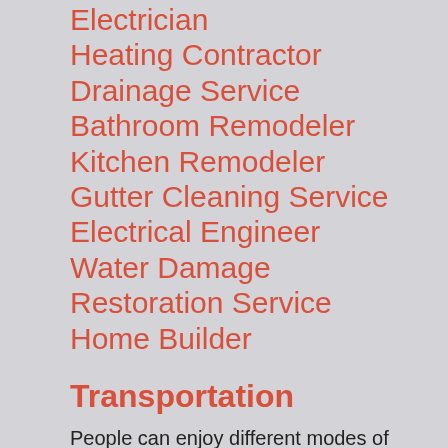Electrician
Heating Contractor
Drainage Service
Bathroom Remodeler
Kitchen Remodeler
Gutter Cleaning Service
Electrical Engineer
Water Damage Restoration Service
Home Builder
Transportation
People can enjoy different modes of transportation at Wembley.  More than